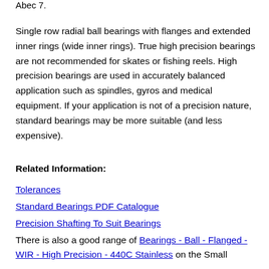Abec 7.
Single row radial ball bearings with flanges and extended inner rings (wide inner rings). True high precision bearings are not recommended for skates or fishing reels. High precision bearings are used in accurately balanced application such as spindles, gyros and medical equipment. If your application is not of a precision nature, standard bearings may be more suitable (and less expensive).
Related Information:
Tolerances
Standard Bearings PDF Catalogue
Precision Shafting To Suit Bearings
There is also a good range of Bearings - Ball - Flanged - WIR - High Precision - 440C Stainless on the Small